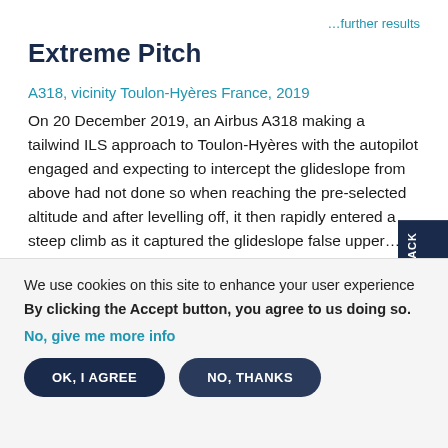…further results
Extreme Pitch
A318, vicinity Toulon-Hyères France, 2019
On 20 December 2019, an Airbus A318 making a tailwind ILS approach to Toulon-Hyères with the autopilot engaged and expecting to intercept the glideslope from above had not done so when reaching the pre-selected altitude and after levelling off, it then rapidly entered a steep climb as it captured the glideslope false upper…
We use cookies on this site to enhance your user experience
By clicking the Accept button, you agree to us doing so.
No, give me more info
OK, I AGREE
NO, THANKS